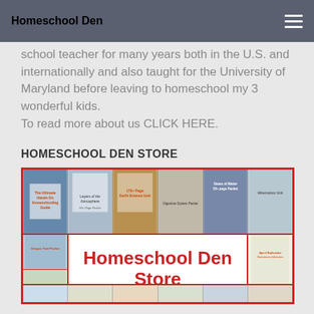Homeschool Den
school teacher for many years both in the U.S. and internationally and also taught for the University of Maryland before leaving to homeschool my 3 wonderful kids.
To read more about us CLICK HERE.
HOMESCHOOL DEN STORE
[Figure (screenshot): Homeschool Den Store banner showing multiple educational product thumbnails including 'The Ultimate Hands-On Homeschooling Guide', 'Layers of the Atmosphere', '170+ Page Earth Science Unit', 'Digestive System Packet', 'States of Matter 50-page Packet', 'Hibernation Unit', 'Oregon Trail Packet', 'Age of Exploration Worksheets & Activities', with central red text 'Homeschool Den Store']